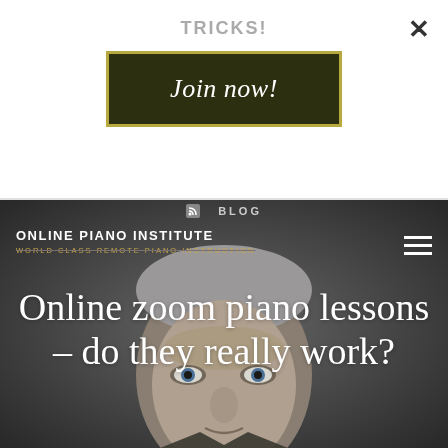TRICKS!
[Figure (screenshot): Dark olive green button with gold border reading 'Join now!' in white italic serif font]
×
[Figure (photo): Close-up portrait of an older man with grey hair and blue eyes against a dark grey background, looking directly at camera with a serious expression]
BLOG
ONLINE PIANO INSTITUTE
WORLD CLASS REMOTE PIANO INSTRUCTION
Online zoom piano lessons – do they really work?